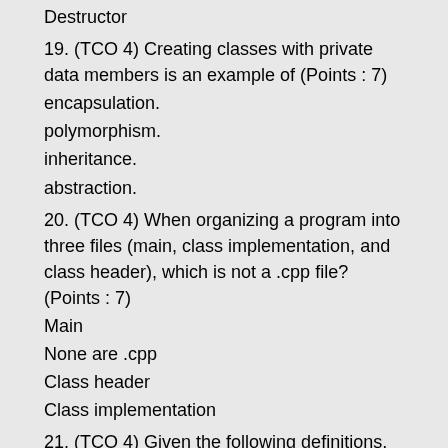Destructor
19. (TCO 4) Creating classes with private data members is an example of (Points : 7)
encapsulation.
polymorphism.
inheritance.
abstraction.
20. (TCO 4) When organizing a program into three files (main, class implementation, and class header), which is not a .cpp file? (Points : 7)
Main
None are .cpp
Class header
Class implementation
21. (TCO 4) Given the following definitions, select the statement that is illegal?